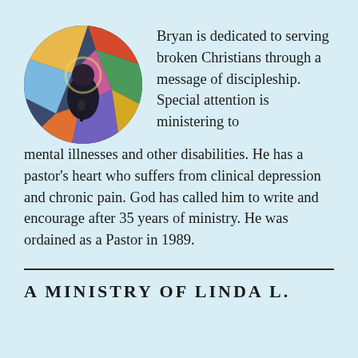[Figure (photo): Circular cropped photo of a person (Bryan) standing in front of colorful stained glass artwork]
Bryan is dedicated to serving broken Christians through a message of discipleship. Special attention is ministering to mental illnesses and other disabilities. He has a pastor's heart who suffers from clinical depression and chronic pain. God has called him to write and encourage after 35 years of ministry. He was ordained as a Pastor in 1989.
A MINISTRY OF LINDA L.